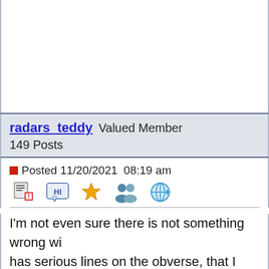radars_teddy   Valued Member
149 Posts
Posted 11/20/2021  08:19 am
[Figure (illustration): Row of forum action icons: post icon, greeting icon, star/favorite icon, group/members icon, globe/link icon]
I'm not even sure there is not something wrong wi... has serious lines on the obverse, that I don't know... not convinced the toning is natural either.
Re